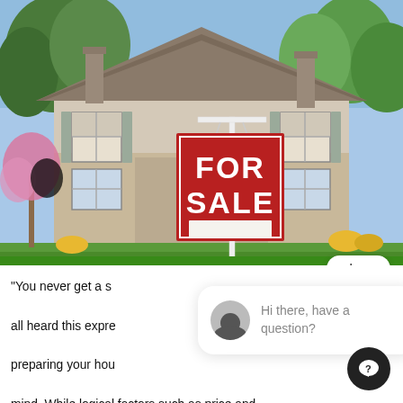[Figure (photo): A suburban house with a red 'FOR SALE' sign in front, showing manicured lawn, flowering trees, and blue sky background.]
"You never get a second chance to make a first impression." We've all heard this expression, and it's especially relevant when preparing your house for sale. Buying a house is emotional by mind. While logical factors such as price and location narrow the pool of houses a potential buyer will look at, the ultimate decision to buy a particular house is fuelled by a mixture of logic and emotion. And emotion often wins out. The same